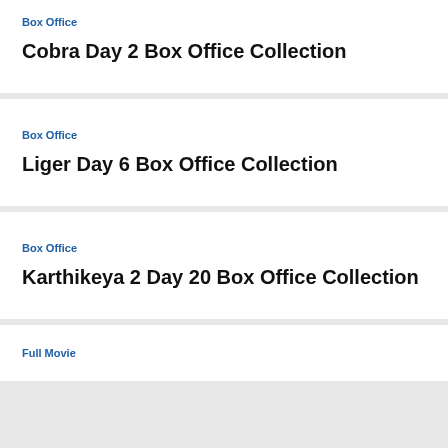Box Office
Cobra Day 2 Box Office Collection
Box Office
Liger Day 6 Box Office Collection
Box Office
Karthikeya 2 Day 20 Box Office Collection
Full Movie